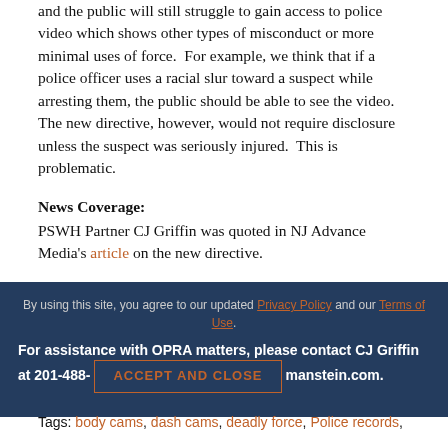and the public will still struggle to gain access to police video which shows other types of misconduct or more minimal uses of force.  For example, we think that if a police officer uses a racial slur toward a suspect while arresting them, the public should be able to see the video.  The new directive, however, would not require disclosure unless the suspect was seriously injured.  This is problematic.
News Coverage:
PSWH Partner CJ Griffin was quoted in NJ Advance Media's article on the new directive.
By using this site, you agree to our updated Privacy Policy and our Terms of Use. For assistance with OPRA matters, please contact CJ Griffin at 201-488-[...] @paternoster.manstein.com. ACCEPT AND CLOSE
Tags: body cams, dash cams, deadly force, Police records,